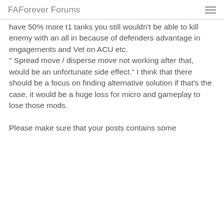FAForever Forums
have 50% more t1 tanks you still wouldn't be able to kill enemy with an all in because of defenders advantage in engagements and Vet on ACU etc.
" Spread move / disperse move not working after that, would be an unfortunate side effect." I think that there should be a focus on finding alternative solution if that's the case, it would be a huge loss for micro and gameplay to lose those mods.

Please make sure that your posts contains some